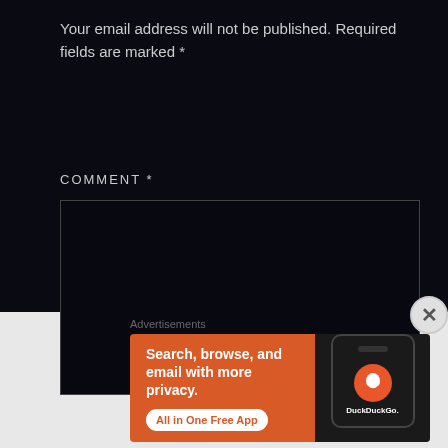Your email address will not be published. Required fields are marked *
COMMENT *
[Figure (screenshot): Empty dark comment textarea input box with dark border]
Advertisements
[Figure (other): DuckDuckGo advertisement banner on orange background. Text: Search, browse, and email with more privacy. All in One Free App. Shows DuckDuckGo logo on phone.]